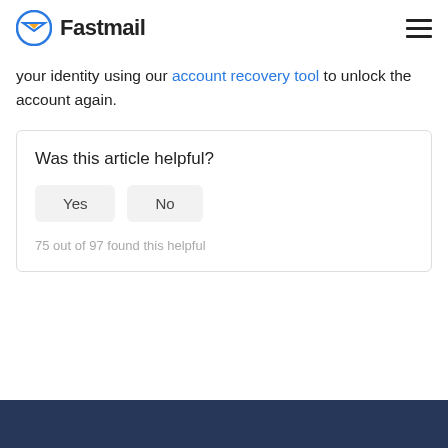Fastmail
your identity using our account recovery tool to unlock the account again.
Was this article helpful?
75 out of 97 found this helpful